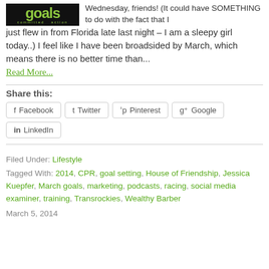[Figure (illustration): Black background image with bright green stylized text reading 'goals' with smaller green text below reading 'committed' and 'action']
Wednesday, friends! (It could have SOMETHING to do with the fact that I just flew in from Florida late last night – I am a sleepy girl today..) I feel like I have been broadsided by March, which means there is no better time than...
Read More...
Share this:
Facebook  Twitter  Pinterest  Google  LinkedIn
Filed Under: Lifestyle
Tagged With: 2014, CPR, goal setting, House of Friendship, Jessica Kuepfer, March goals, marketing, podcasts, racing, social media examiner, training, Transrockies, Wealthy Barber
March 5, 2014